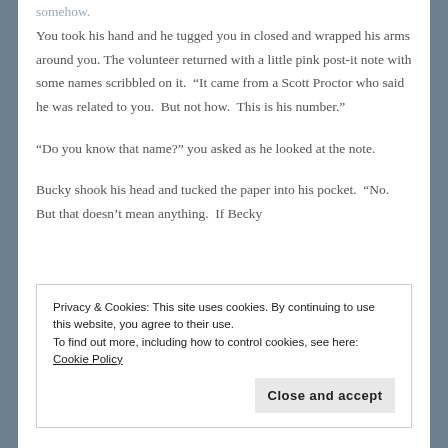somehow.
You took his hand and he tugged you in closed and wrapped his arms around you. The volunteer returned with a little pink post-it note with some names scribbled on it.  “It came from a Scott Proctor who said he was related to you.  But not how.  This is his number.”
“Do you know that name?” you asked as he looked at the note.
Bucky shook his head and tucked the paper into his pocket.  “No.  But that doesn’t mean anything.  If Becky
Privacy & Cookies: This site uses cookies. By continuing to use this website, you agree to their use.
To find out more, including how to control cookies, see here: Cookie Policy
Close and accept